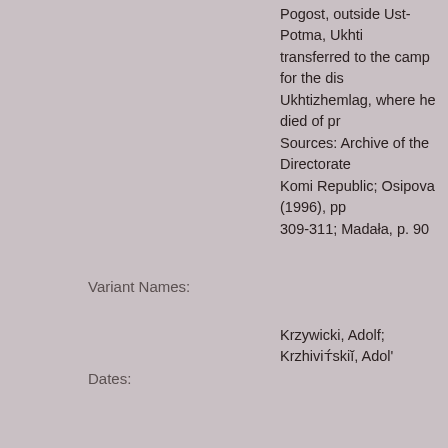Pogost, outside Ust-Potma, Ukhtizhemlag, where he died of pr... Sources: Archive of the Directorate Komi Republic; Osipova (1996), pp. 309-311; Madała, p. 90
Variant Names:
Krzywicki, Adolf; Krzhivitskiĭ, Adol'...
Dates:
1887-1942
Locations:
Navahrudak (Belarus); Saint Peter... (Belarus); Navahrudak (Belarus); Barysaw (Belarus); Minsk (Belarus); Komi (Russia); Ukhta (Komi, Russia); Vetlosyan (Russia)
Subjects:
male; clergy and religious; died in...